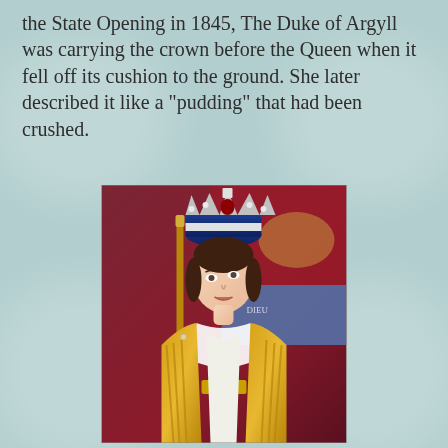the State Opening in 1845, The Duke of Argyll was carrying the crown before the Queen when it fell off its cushion to the ground. She later described it like a "pudding" that had been crushed.
[Figure (photo): Portrait painting of Queen Victoria in coronation regalia, wearing the Imperial State Crown and golden coronation robes, holding a sceptre, with royal coat of arms in the background.]